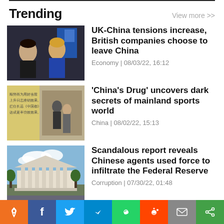Trending
View more >>
[Figure (photo): Two politicians (man and woman) in a TV studio setting]
UK-China tensions increase, British companies choose to leave China
Economy | 08/03/22, 16:12
[Figure (photo): Scene with Chinese text on the left and two men in a corridor on the right]
'China's Drug' uncovers dark secrets of mainland sports world
China | 08/02/22, 15:13
[Figure (photo): White columned government building (Federal Reserve) against a sky with trees]
Scandalous report reveals Chinese agents used force to infiltrate the Federal Reserve
Corruption | 07/30/22, 01:48
Tianjin police have gas bomb
Social share bar: location, Facebook, Twitter, Telegram, WhatsApp, Reddit, Mail, Share